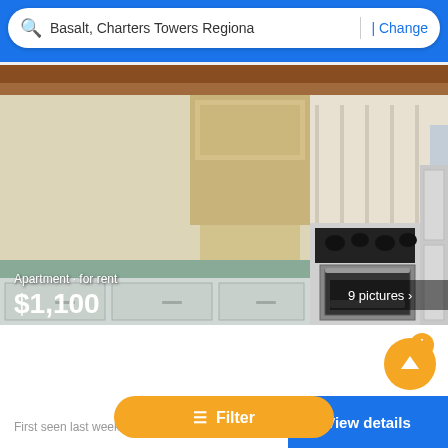Basalt, Charters Towers Regiona | Change
[Figure (photo): Interior photo of a kitchen showing wooden cabinet, countertops, stove/oven and appliances. Overlay text reads: Apartment · for rent $1,100. Badge reads: 9 pictures >]
Flat to let , Townsville
Basalt, Charters Towers Regional
2 Bedrooms
Parking
First seen last week on Rentola
≡  Filter
View details